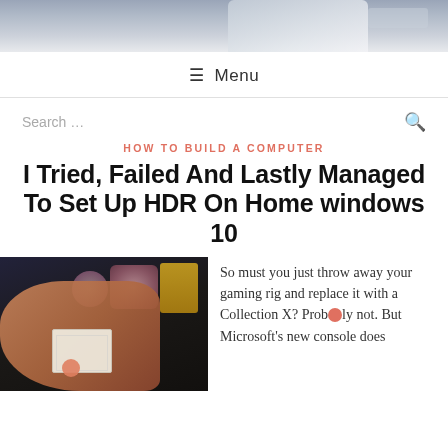[Figure (photo): Website header photo showing a laptop and desk surface]
≡ Menu
Search …
HOW TO BUILD A COMPUTER
I Tried, Failed And Lastly Managed To Set Up HDR On Home windows 10
[Figure (photo): Photo of hands holding a small card with game materials in background]
So must you just throw away your gaming rig and replace it with a Collection X? Probably not. But Microsoft's new console does